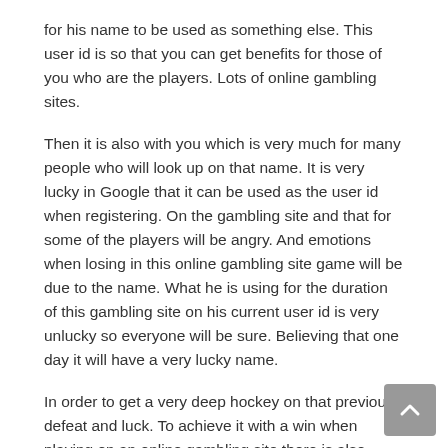for his name to be used as something else. This user id is so that you can get benefits for those of you who are the players. Lots of online gambling sites.
Then it is also with you which is very much for many people who will look up on that name. It is very lucky in Google that it can be used as the user id when registering. On the gambling site and that for some of the players will be angry. And emotions when losing in this online gambling site game will be due to the name. What he is using for the duration of this gambling site on his current user id is very unlucky so everyone will be sure. Believing that one day it will have a very lucky name.
In order to get a very deep hockey on that previous defeat and luck. To achieve it with a win when playing on an online gambling site there is also going to the player. Which is very often to bring to the livechat on the online gambling site for. Asking a name for him, who is